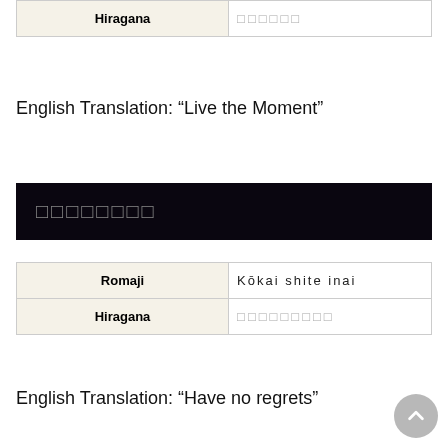| Hiragana | □□□□□□ |
| --- | --- |
| Hiragana | □□□□□□ |
English Translation: “Live the Moment”
□□□□□□□□
| Romaji | Hiragana |
| --- | --- |
| Romaji | Kōkai shite inai |
| Hiragana | □□□□□□□□□ |
English Translation: “Have no regrets”